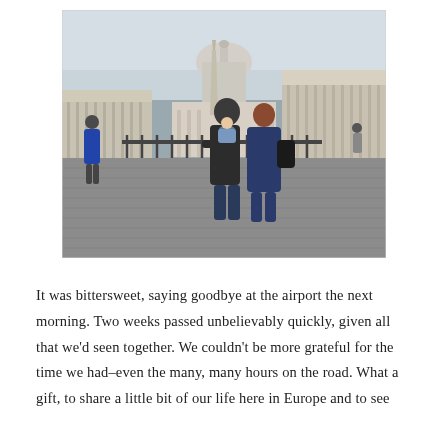[Figure (photo): A couple with a baby in a carrier standing in St. Peter's Square, Vatican, Rome. The man is tall with dark hair, wearing a dark jacket and jeans, carrying a baby in a blue and white striped carrier. The woman has red hair, wearing a blue coat with a backpack. St. Peter's Basilica and the colonnades are visible in the background along with an obelisk. Other tourists are visible in the square. The square is paved with cobblestones.]
It was bittersweet, saying goodbye at the airport the next morning. Two weeks passed unbelievably quickly, given all that we'd seen together. We couldn't be more grateful for the time we had–even the many, many hours on the road. What a gift, to share a little bit of our life here in Europe and to see